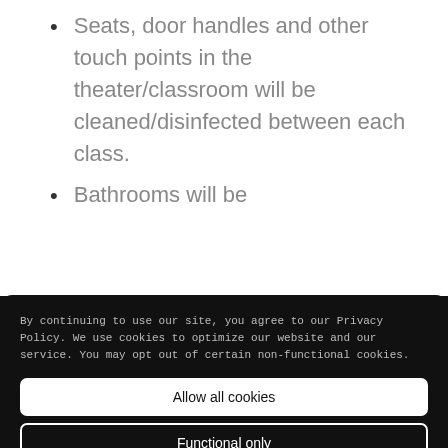Seats, door handles and other touch points in the theater/classroom will be cleaned/disinfected between each class.
Bathrooms will be
By continuing to use our site, you agree to our Privacy Policy. We use cookies to optimize our website and our service. You may opt out of certain non-functional cookies.
Allow all cookies
Functional only
Preferences
Cookie policy   Privacy Policy   Impressum